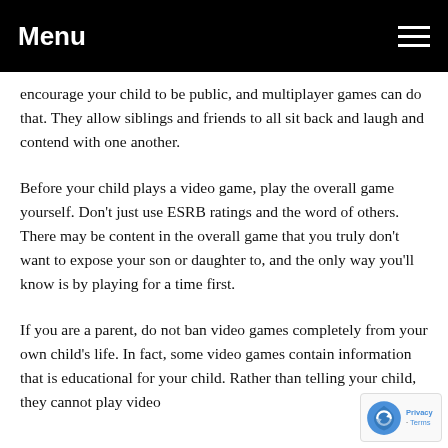Menu
encourage your child to be public, and multiplayer games can do that. They allow siblings and friends to all sit back and laugh and contend with one another.
Before your child plays a video game, play the overall game yourself. Don't just use ESRB ratings and the word of others. There may be content in the overall game that you truly don't want to expose your son or daughter to, and the only way you'll know is by playing for a time first.
If you are a parent, do not ban video games completely from your own child's life. In fact, some video games contain information that is educational for your child. Rather than telling your child, they cannot play video